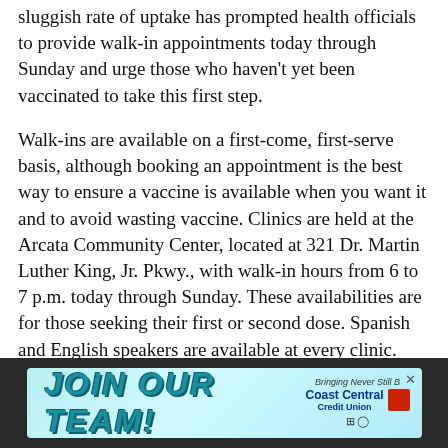sluggish rate of uptake has prompted health officials to provide walk-in appointments today through Sunday and urge those who haven't yet been vaccinated to take this first step.
Walk-ins are available on a first-come, first-serve basis, although booking an appointment is the best way to ensure a vaccine is available when you want it and to avoid wasting vaccine. Clinics are held at the Arcata Community Center, located at 321 Dr. Martin Luther King, Jr. Pkwy., with walk-in hours from 6 to 7 p.m. today through Sunday. These availabilities are for those seeking their first or second dose. Spanish and English speakers are available at every clinic.
[Figure (other): Advertisement banner for Coast Central Credit Union with text 'JOIN OUR TEAM!' in large stylized teal letters on a light blue background, with Coast Central Credit Union logo and social media icons.]